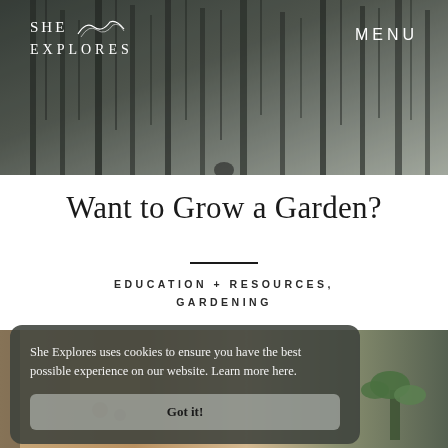[Figure (photo): Dark misty forest with tall trees as website hero banner]
SHE EXPLORES   MENU
Want to Grow a Garden?
EDUCATION + RESOURCES, GARDENING
[Figure (photo): Bottom photo strip showing gardening items, seeds, and a plant seedling]
She Explores uses cookies to ensure you have the best possible experience on our website. Learn more here.
Got it!